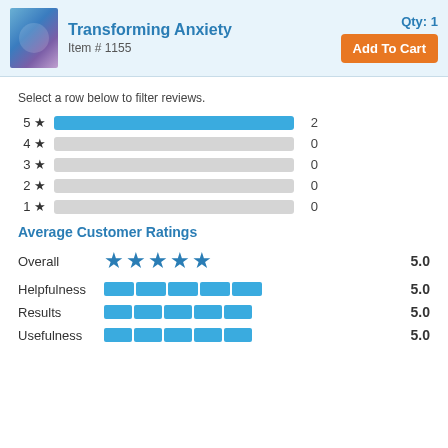Transforming Anxiety  Item # 1155  Qty: 1  Add To Cart
Select a row below to filter reviews.
[Figure (bar-chart): Star Rating Distribution]
Average Customer Ratings
| Category | Rating | Score |
| --- | --- | --- |
| Overall | ★★★★★ | 5.0 |
| Helpfulness | [bar] | 5.0 |
| Results | [bar] | 5.0 |
| Usefulness | [bar] | 5.0 |